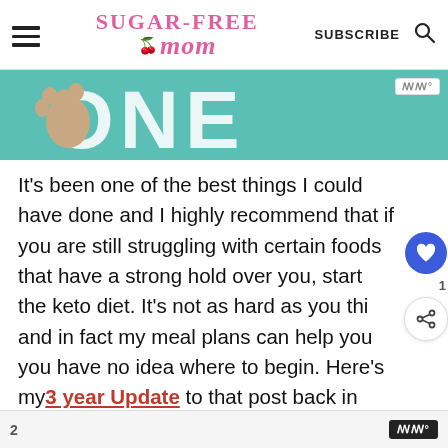Sugar-Free Mom — SUBSCRIBE [search]
[Figure (photo): Partial hero image showing a dog's paws on a teal/green background with large white letters partially visible]
It's been one of the best things I could have done and I highly recommend that if you are still struggling with certain foods that have a strong hold over you, start the keto diet. It's not as hard as you think and in fact my meal plans can help you if you have no idea where to begin. Here's my 3 year Update to that post back in
2